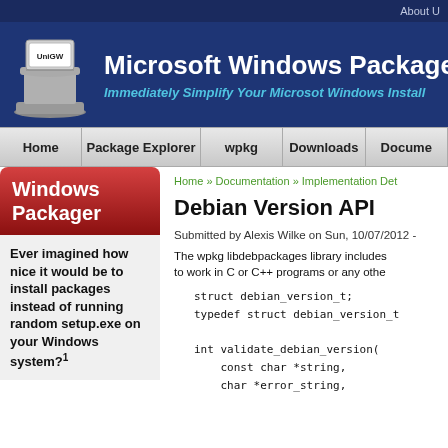About U
[Figure (logo): UniGW software logo - a grey pedestal/mailbox icon with text UniGW]
Microsoft Windows Package
Immediately Simplify Your Microsot Windows Install
Home | Package Explorer | wpkg | Downloads | Docume
Windows Packager
Ever imagined how nice it would be to install packages instead of running random setup.exe on your Windows system?¹
Home » Documentation » Implementation Det
Debian Version API
Submitted by Alexis Wilke on Sun, 10/07/2012 -
The wpkg libdebpackages library includes to work in C or C++ programs or any othe
struct debian_version_t;
typedef struct debian_version_t

int validate_debian_version(
    const char *string,
    char *error_string,